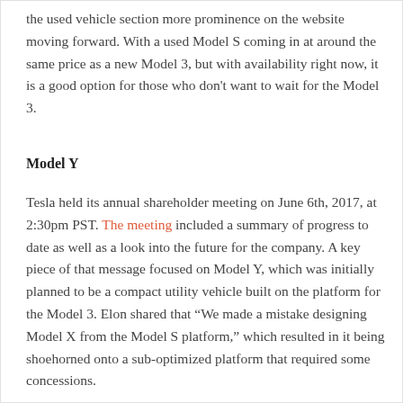the used vehicle section more prominence on the website moving forward. With a used Model S coming in at around the same price as a new Model 3, but with availability right now, it is a good option for those who don't want to wait for the Model 3.
Model Y
Tesla held its annual shareholder meeting on June 6th, 2017, at 2:30pm PST. The meeting included a summary of progress to date as well as a look into the future for the company. A key piece of that message focused on Model Y, which was initially planned to be a compact utility vehicle built on the platform for the Model 3. Elon shared that “We made a mistake designing Model X from the Model S platform,” which resulted in it being shoehorned onto a sub-optimized platform that required some concessions.